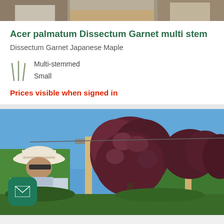[Figure (photo): Top portion of a nursery/garden photo showing people and wood chips]
Acer palmatum Dissectum Garnet multi stem
Dissectum Garnet Japanese Maple
Multi-stemmed
Small
Prices visible when signed in
[Figure (photo): Outdoor nursery photo showing a person in a white hat and dark reddish-leafed Japanese Maple trees with wooden support stakes against a blue sky, with a green email contact button overlay]